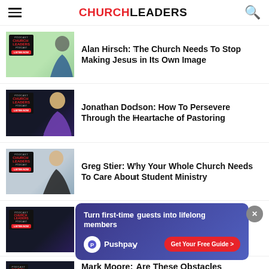CHURCHLEADERS
Alan Hirsch: The Church Needs To Stop Making Jesus in Its Own Image
Jonathan Dodson: How To Persevere Through the Heartache of Pastoring
Greg Stier: Why Your Whole Church Needs To Care About Student Ministry
[Figure (screenshot): Pushpay advertisement overlay: 'Turn first-time guests into lifelong members' with Pushpay logo and 'Get Your Free Guide >' button]
Mark Moore: Are These Obstacles